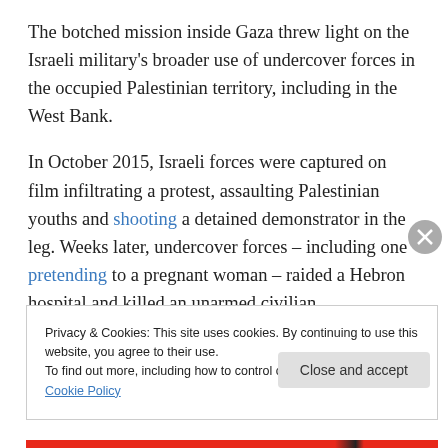The botched mission inside Gaza threw light on the Israeli military's broader use of undercover forces in the occupied Palestinian territory, including in the West Bank.
In October 2015, Israeli forces were captured on film infiltrating a protest, assaulting Palestinian youths and shooting a detained demonstrator in the leg. Weeks later, undercover forces – including one pretending to a pregnant woman – raided a Hebron hospital and killed an unarmed civilian.
Privacy & Cookies: This site uses cookies. By continuing to use this website, you agree to their use.
To find out more, including how to control cookies, see here: Cookie Policy